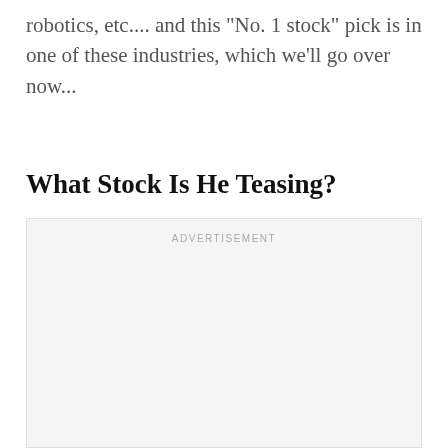robotics, etc.... and this "No. 1 stock" pick is in one of these industries, which we'll go over now...
What Stock Is He Teasing?
[Figure (other): Advertisement placeholder box with 'ADVERTISEMENT' label at top center]